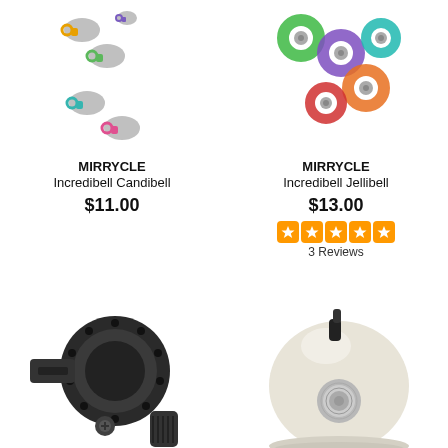[Figure (photo): Multiple colorful Mirrycle Incredibell Candibell bicycle bells scattered, in yellow, green, teal, pink colors with silver tops]
MIRRYCLE
Incredibell Candibell
$11.00
[Figure (photo): Multiple colorful Mirrycle Incredibell Jellibell bicycle bells scattered, in green, purple, orange, teal, red colors]
MIRRYCLE
Incredibell Jellibell
$13.00
[Figure (other): 5 orange star rating icons in rounded square shapes]
3 Reviews
[Figure (photo): Black mechanical bicycle bell with clamp mount, rotary mechanism, dark metallic finish]
[Figure (photo): Cream/white classic dome bicycle bell with chrome center badge and black trigger lever]